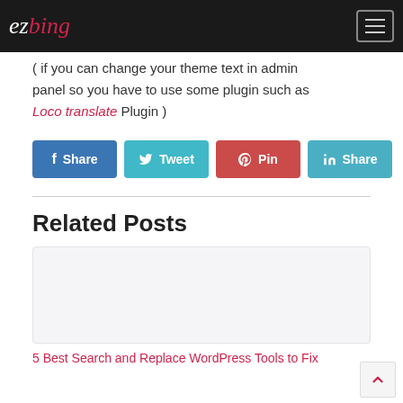ezbing
( if you can change your theme text in admin panel so you have to use some plugin such as Loco translate Plugin )
[Figure (other): Social share buttons: Share (Facebook), Tweet (Twitter), Pin (Pinterest), Share (LinkedIn)]
Related Posts
[Figure (other): Related post thumbnail placeholder (light grey box)]
5 Best Search and Replace WordPress Tools to Fix